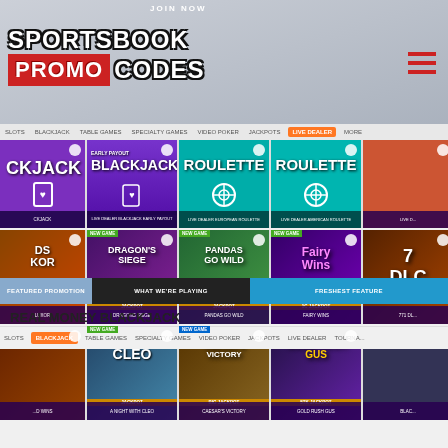[Figure (screenshot): Sportsbook Promo Codes website screenshot showing logo, navigation, live dealer games, slots grid, promo bar, and bottom navigation for blackjack games]
SPORTSBOOK PROMO CODES
SLOTS | BLACKJACK | TABLE GAMES | SPECIALTY GAMES | VIDEO POKER | JACKPOTS | LIVE DEALER
[Figure (screenshot): Live dealer games row: BLACKJACK, EARLY PAYOUT BLACKJACK (Live Dealer Blackjack Early Payout), ROULETTE (Live Dealer European Roulette), ROULETTE (Live Dealer American Roulette), partially visible fifth card]
[Figure (screenshot): Slots row 1: partially visible slot, Dragon's Siege (New Game), Pandas Go Wild (New Game), Fairy Wins (New Game, Jackpot), 777 Deluxe (partially visible)]
[Figure (screenshot): Slots row 2: partially visible slot (Wild Wins), A Night With Cleo (New Game, Jackpot), Caesar's Victory (New Game, Big Jackpot), Gold Rush Gus (Jackpot), partially visible Blackjack]
FEATURED PROMOTION | WHAT WE'RE PLAYING | FRESHEST FEATURE
REAL MONEY BLACKJACK
SLOTS | BLACKJACK | TABLE GAMES | SPECIALTY GAMES | VIDEO POKER | JACKPOTS | LIVE DEALER | TOURNAM...